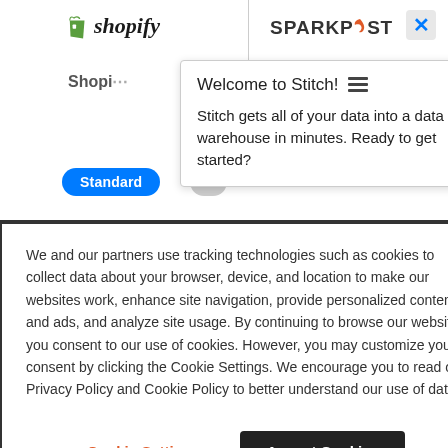[Figure (screenshot): Shopify and SparkPost logos side by side at the top of a webpage, with a close (X) button in the top right corner, a partially visible 'Shopi...' text, a tooltip popup saying 'Welcome to Stitch!' with description text, and a Standard button]
We and our partners use tracking technologies such as cookies to collect data about your browser, device, and location to make our websites work, enhance site navigation, provide personalized content and ads, and analyze site usage. By continuing to browse our website, you consent to our use of cookies. However, you may customize your consent by clicking the Cookie Settings. We encourage you to read our Privacy Policy and Cookie Policy to better understand our use of data.
Cookie Settings
Accept Cookies